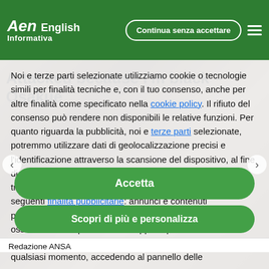Aen English Informativa — Continua senza accettare
Attacked because I'm black – Osakue
Noi e terze parti selezionate utilizziamo cookie o tecnologie simili per finalità tecniche e, con il tuo consenso, anche per altre finalità come specificato nella cookie policy. Il rifiuto del consenso può rendere non disponibili le relative funzioni. Per quanto riguarda la pubblicità, noi e terze parti selezionate, potremmo utilizzare dati di geolocalizzazione precisi e l'identificazione attraverso la scansione del dispositivo, al fine di archiviare e/o accedere a informazioni su un dispositivo e trattare dati personali come i tuoi dati di utilizzo, per le seguenti finalità pubblicitarie: annunci e contenuti personalizzati, valutazione degli annunci e del contenuto, osservazioni del pubblico e sviluppo di prodotti. Puoi liberamente prestare, rifiutare o revocare il tuo consenso, in qualsiasi momento, accedendo al pannello delle
Accetta
Scopri di più e personalizza
Redazione ANSA